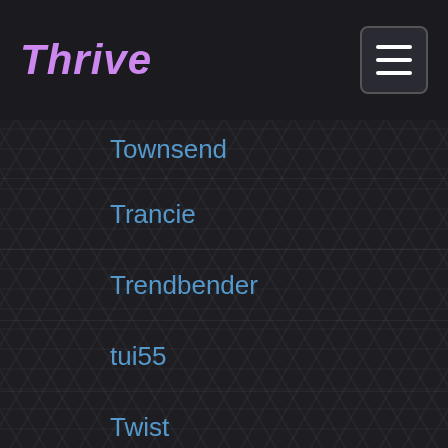Thrive
Townsend
Trancie
Trendbender
tui55
Twist
ult_dev
ValkyrieSkye25